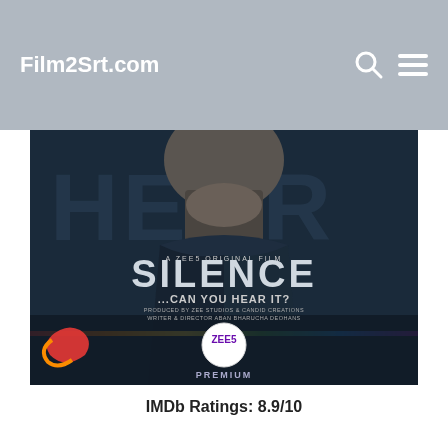Film2Srt.com
[Figure (photo): Movie poster for 'Silence ...Can You Hear It?' - A ZEE5 Original Film. Shows a close-up of a man's face/neck against a dark blue background. Text reads: A ZEE5 ORIGINAL FILM, SILENCE, ...CAN YOU HEAR IT?, PRODUCED BY ZEE STUDIOS & CANDID CREATIONS, WRITER & DIRECTOR ABAN BHARUCHA DEOHANS, PREMIERES 26 MARCH. ZEE5 PREMIUM logo at bottom.]
IMDb Ratings: 8.9/10